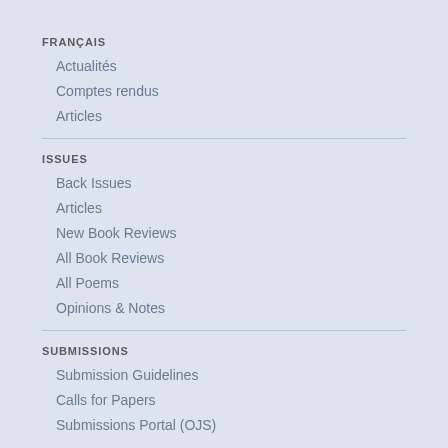FRANÇAIS
Actualités
Comptes rendus
Articles
ISSUES
Back Issues
Articles
New Book Reviews
All Book Reviews
All Poems
Opinions & Notes
SUBMISSIONS
Submission Guidelines
Calls for Papers
Submissions Portal (OJS)